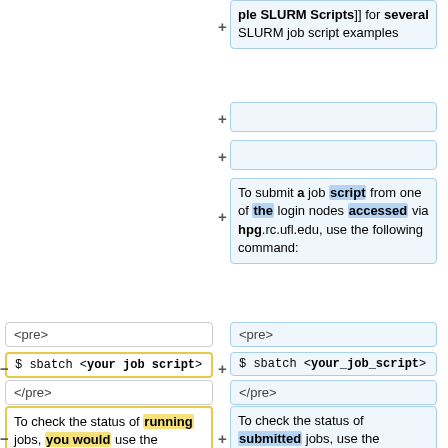+ ple SLURM Scripts]] for several SLURM job script examples
+
+
+ To submit a job script from one of the login nodes accessed via hpg.rc.ufl.edu, use the following command:
<pre>
<pre>
- $ sbatch <your job script>
+ $ sbatch <your_job_script>
</pre>
</pre>
- To check the status of running jobs, you would use the following command:
+ To check the status of submitted jobs, use the following command:
<pre>
<pre>
- $ squeue [-u <username>]
+ $ squeue -u <username>